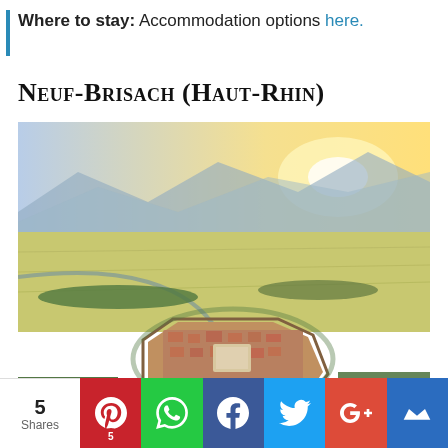Where to stay: Accommodation options here.
Neuf-Brisach (Haut-Rhin)
[Figure (photo): Aerial view of Neuf-Brisach, a fortified town in Haut-Rhin, France. The octagonal planned town with red-roofed buildings and a central square is visible, surrounded by green countryside and rolling hills in the background at sunset.]
5 Shares | Pinterest 5 | WhatsApp | Facebook | Twitter | Google+ | Mail